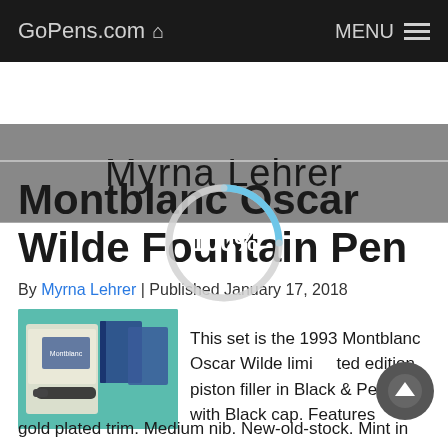GoPens.com 🏠   MENU ≡
Myrna Lehrer
[Figure (other): Loading spinner showing a circular arc with 100% label, overlaid on the page content]
Montblanc Oscar Wilde Fountain Pen
By Myrna Lehrer | Published January 17, 2018
[Figure (photo): Photo of the 1993 Montblanc Oscar Wilde limited edition fountain pen set with box and packaging on a teal background]
This set is the 1993 Montblanc Oscar Wilde limited edition piston filler in Black & Pearl with Black cap. Features gold plated trim. Medium nib. New-old-stock. Mint in